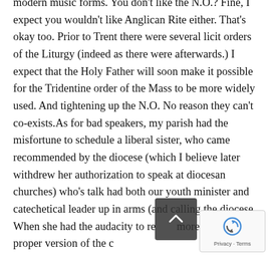modern music forms. You don't like the N.O.? Fine, I expect you wouldn't like Anglican Rite either. That's okay too. Prior to Trent there were several licit orders of the Liturgy (indeed as there were afterwards.) I expect that the Holy Father will soon make it possible for the Tridentine order of the Mass to be more widely used. And tightening up the N.O. No reason they can't co-exists.As for bad speakers, my parish had the misfortune to schedule a liberal sister, who came recommended by the diocese (which I believe later withdrew her authorization to speak at diocesan churches) who's talk had both our youth minister and catechetical leader up in arms (and calling the diocese. When she had the audacity to read a more ecologically proper version of the creed...